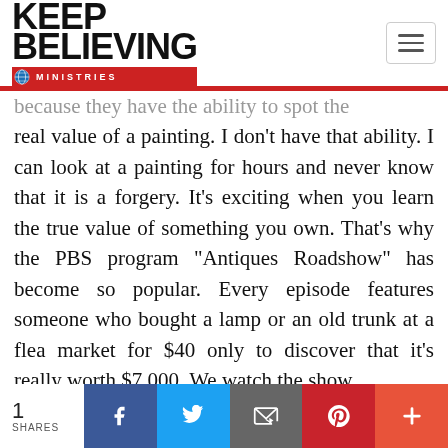Keep Believing Ministries
because they have the ability to spot the real value of a painting. I don't have that ability. I can look at a painting for hours and never know that it is a forgery. It's exciting when you learn the true value of something you own. That's why the PBS program “Antiques Roadshow” has become so popular. Every episode features someone who bought a lamp or an old trunk at a flea market for $40 only to discover that it’s really worth $7,000. We watch the show
1 SHARES